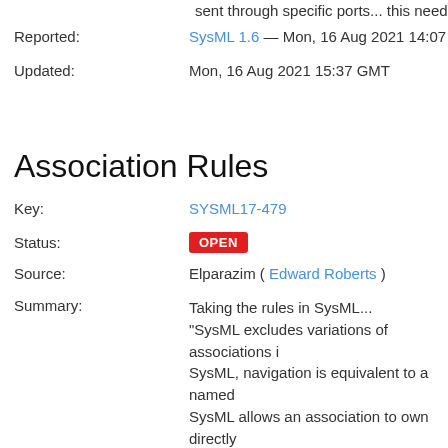sent through specific ports... this needs to be
Reported: SysML 1.6 — Mon, 16 Aug 2021 14:07 GMT
Updated: Mon, 16 Aug 2021 15:37 GMT
Association Rules
Key: SYSML17-479
Status: OPEN
Source: Elparazim ( Edward Roberts )
Summary: Taking the rules in SysML... "SysML excludes variations of associations i... SysML, navigation is equivalent to a named... SysML allows an association to own directly... This unnamed end provides a metamodel el... reference that defines no named property fo... and ownership by means of constraints that... and the fact that if you can navigate to some... "if it does not have a navigation on the end...